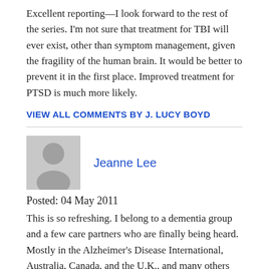Excellent reporting—I look forward to the rest of the series. I'm not sure that treatment for TBI will ever exist, other than symptom management, given the fragility of the human brain. It would be better to prevent it in the first place. Improved treatment for PTSD is much more likely.
VIEW ALL COMMENTS BY J. LUCY BOYD
[Figure (illustration): Generic user avatar placeholder icon — grey square with a circle and lower body shape in lighter grey]
Jeanne Lee
Posted: 04 May 2011
This is so refreshing. I belong to a dementia group and a few care partners who are finally being heard. Mostly in the Alzheimer's Disease International, Australia, Canada, and the U.K., and many others are also being studied by some doctors to see why the slow downhill occurs. Long